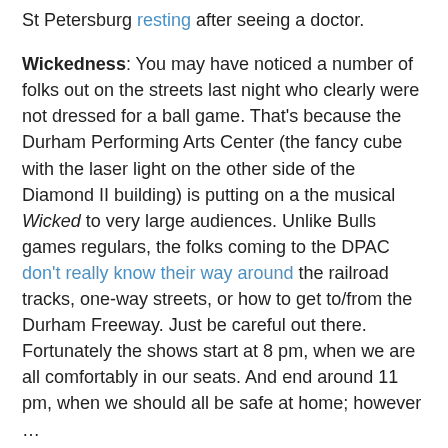St Petersburg resting after seeing a doctor.
Wickedness: You may have noticed a number of folks out on the streets last night who clearly were not dressed for a ball game. That's because the Durham Performing Arts Center (the fancy cube with the laser light on the other side of the Diamond II building) is putting on a the musical Wicked to very large audiences. Unlike Bulls games regulars, the folks coming to the DPAC don't really know their way around the railroad tracks, one-way streets, or how to get to/from the Durham Freeway. Just be careful out there. Fortunately the shows start at 8 pm, when we are all comfortably in our seats. And end around 11 pm, when we should all be safe at home; however …
Mom's like the Bulls, too.
Chris W. at 9:09 AM   No comments:
Wednesday, April 21, 2010
Lonely Are the Brave